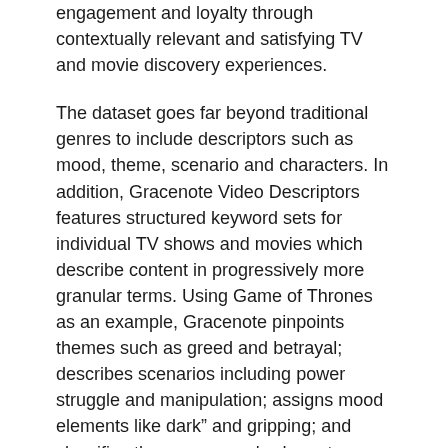engagement and loyalty through contextually relevant and satisfying TV and movie discovery experiences.
The dataset goes far beyond traditional genres to include descriptors such as mood, theme, scenario and characters. In addition, Gracenote Video Descriptors features structured keyword sets for individual TV shows and movies which describe content in progressively more granular terms. Using Game of Thrones as an example, Gracenote pinpoints themes such as greed and betrayal; describes scenarios including power struggle and manipulation; assigns mood elements like dark" and gripping; and classifies the programme's characters from royalty to dragons.
Explaining the rationale for the launch, Gracenote said that TV providers are dedicating increasingly large budgets to build sizable on-demand catalogues of both originally produced content and licensed TV shows and movies. At the same time, they are developing smarter search, discovery and recommendation capabilities,